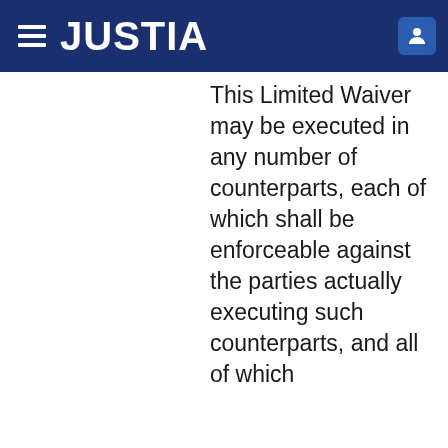JUSTIA
This Limited Waiver may be executed in any number of counterparts, each of which shall be enforceable against the parties actually executing such counterparts, and all of which